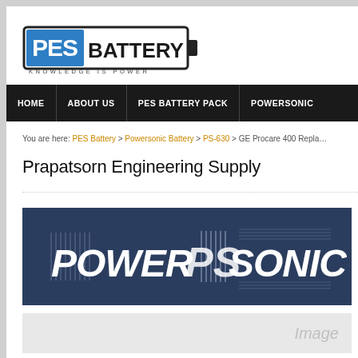[Figure (logo): PES Battery logo with battery icon shape, blue PES square, bold BATTERY text, and tagline KNOWLEDGE IS POWER]
HOME | ABOUT US | PES BATTERY PACK | POWERSONIC
You are here: PES Battery > Powersonic Battery > PS-630 > GE Procare 400 Repla...
Prapatsorn Engineering Supply
[Figure (logo): Powersonic brand logo on dark navy background with stylized text POWER SONIC and diagonal line graphic]
[Figure (photo): Partial image placeholder at bottom, showing gray background with light 'Image' text watermark]